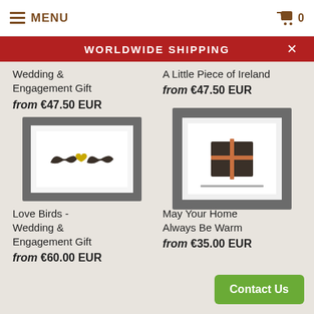MENU | 0
WORLDWIDE SHIPPING
Wedding & Engagement Gift
from €47.50 EUR
A Little Piece of Ireland
from €47.50 EUR
[Figure (photo): Framed shadow box with two dark mustache shapes and a small gold heart in between, on white background with grey frame]
[Figure (photo): Framed shadow box with a dark rectangular piece decorated with a copper cross, on white background with grey frame]
Love Birds - Wedding & Engagement Gift
from €60.00 EUR
May Your Home Always Be Warm
from €35.00 EUR
Contact Us